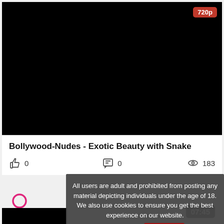[Figure (screenshot): Black video thumbnail with 720p badge in red top right, female gender icon in pink bottom left, timestamp 07:45 in dark pill bottom right]
Bollywood-Nudes - Exotic Beauty with Snake
0  0  183
All users are adult and prohibited from posting any material depicting individuals under the age of 18. We also use cookies to ensure you get the best experience on our website. Learn more  I agree